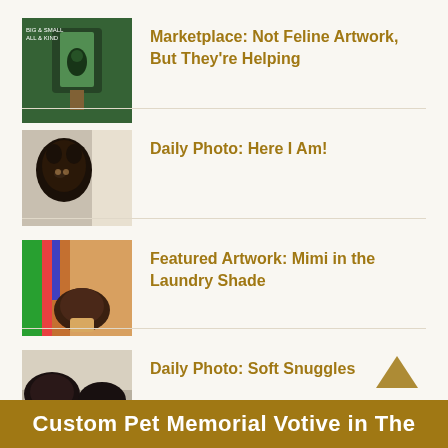Marketplace: Not Feline Artwork, But They're Helping
Daily Photo: Here I Am!
Featured Artwork: Mimi in the Laundry Shade
Daily Photo: Soft Snuggles
Custom Pet Memorial Votive in The